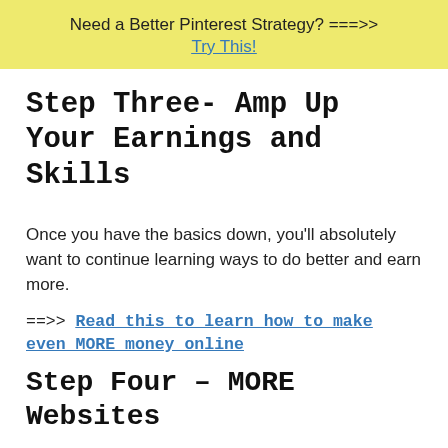Need a Better Pinterest Strategy? ===>>
Try This!
Step Three- Amp Up Your Earnings and Skills
Once you have the basics down, you'll absolutely want to continue learning ways to do better and earn more.
==>> Read this to learn how to make even MORE money online
Step Four – MORE Websites